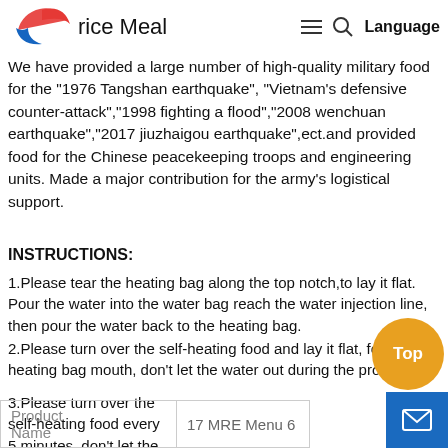rice Meal
We have provided a large number of high-quality military food for the "1976 Tangshan earthquake", "Vietnam's defensive counter-attack","1998 fighting a flood","2008 wenchuan earthquake","2017 jiuzhaigou earthquake",ect.and provided food for the Chinese peacekeeping troops and engineering units. Made a major contribution for the army's logistical support.
INSTRUCTIONS:
1.Please tear the heating bag along the top notch,to lay it flat. Pour the water into the water bag reach the water injection line, then pour the water back to the heating bag.
2.Please turn over the self-heating food and lay it flat, fold up the heating bag mouth, don't let the water out during the process.
3.Please turn over the self-heating food every 5 minutes, don't let the water out, after 15 minutes, take out the food and enjoy it.
| Product Name |  |
| --- | --- |
| Product
Name | 17 MRE Menu 6 |